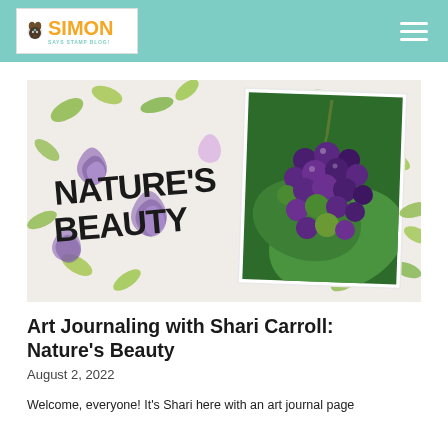Simon Says Stamp Blog
[Figure (photo): Blog header image showing an art journal page with 'Nature's Beauty' text in bold black letters, purple rose stencil designs, green leaves on white background on the left, and a photograph of purple/green grapes on a vine on the right.]
Art Journaling with Shari Carroll: Nature's Beauty
August 2, 2022
Welcome, everyone! It's Shari here with an art journal page